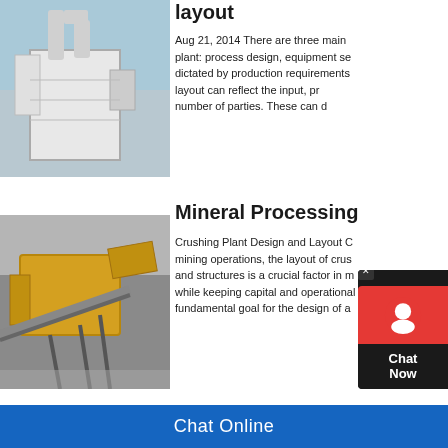[Figure (photo): Industrial equipment with dust collectors and pipes against a blue sky]
layout
Aug 21, 2014 There are three main plant: process design, equipment se dictated by production requirements layout can reflect the input, pr number of parties. These can d
[Figure (photo): Yellow crushing/mining equipment on a construction site]
Mineral Processing
Crushing Plant Design and Layout C mining operations, the layout of crus and structures is a crucial factor in m while keeping capital and operational fundamental goal for the design of a
[Figure (photo): Partial view of a crusher/mining machine against a blue sky]
Crusher Equipment Lay